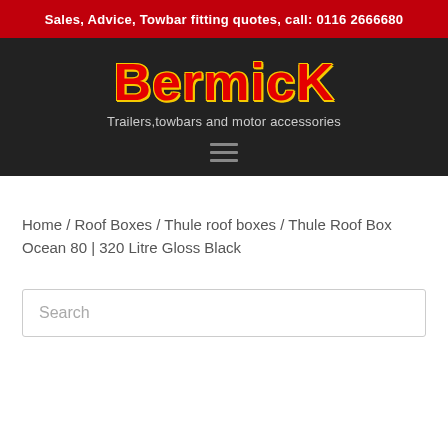Sales, Advice, Towbar fitting quotes, call: 0116 2666680
[Figure (logo): Bermick logo with red and yellow text on dark background, subtitle: Trailers, towbars and motor accessories]
Home / Roof Boxes / Thule roof boxes / Thule Roof Box Ocean 80 | 320 Litre Gloss Black